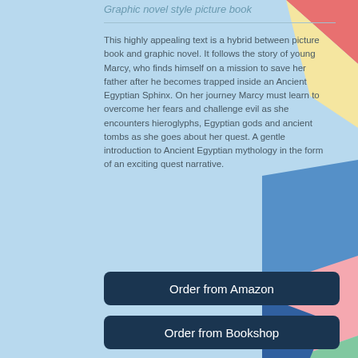Graphic novel style picture book
This highly appealing text is a hybrid between picture book and graphic novel. It follows the story of young Marcy, who finds himself on a mission to save her father after he becomes trapped inside an Ancient Egyptian Sphinx. On her journey Marcy must learn to overcome her fears and challenge evil as she encounters hieroglyphs, Egyptian gods and ancient tombs as she goes about her quest. A gentle introduction to Ancient Egyptian mythology in the form of an exciting quest narrative.
Order from Amazon
Order from Bookshop